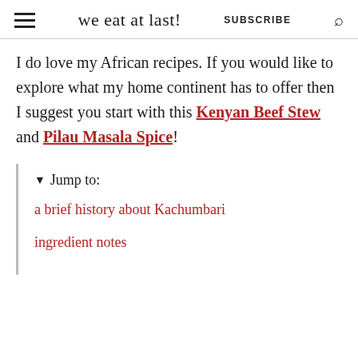we eat at last! SUBSCRIBE
I do love my African recipes. If you would like to explore what my home continent has to offer then I suggest you start with this Kenyan Beef Stew and Pilau Masala Spice!
▼ Jump to:
a brief history about Kachumbari
ingredient notes